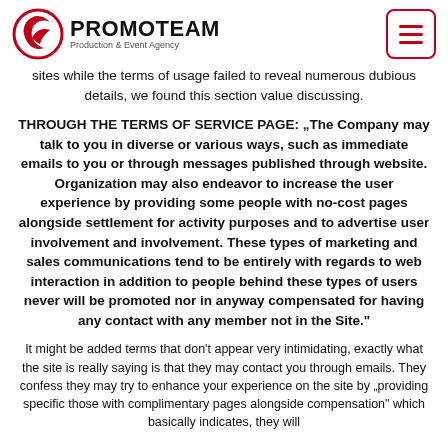PROMOTEAM Production & Event Agency
sites while the terms of usage failed to reveal numerous dubious details, we found this section value discussing.
THROUGH THE TERMS OF SERVICE PAGE: „The Company may talk to you in diverse or various ways, such as immediate emails to you or through messages published through website. Organization may also endeavor to increase the user experience by providing some people with no-cost pages alongside settlement for activity purposes and to advertise user involvement and involvement. These types of marketing and sales communications tend to be entirely with regards to web interaction in addition to people behind these types of users never will be promoted nor in anyway compensated for having any contact with any member not in the Site.“
It might be added terms that don’t appear very intimidating, exactly what the site is really saying is that they may contact you through emails. They confess they may try to enhance your experience on the site by „providing specific those with complimentary pages alongside compensation“ which basically indicates, they will